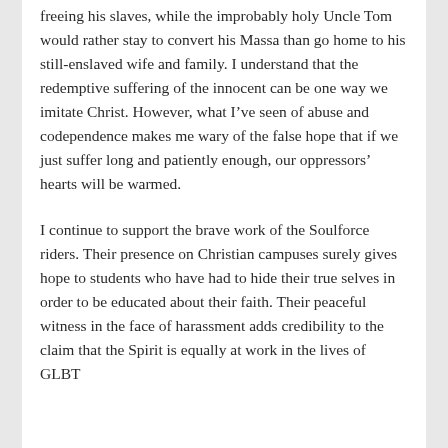freeing his slaves, while the improbably holy Uncle Tom would rather stay to convert his Massa than go home to his still-enslaved wife and family. I understand that the redemptive suffering of the innocent can be one way we imitate Christ. However, what I've seen of abuse and codependence makes me wary of the false hope that if we just suffer long and patiently enough, our oppressors' hearts will be warmed.
I continue to support the brave work of the Soulforce riders. Their presence on Christian campuses surely gives hope to students who have had to hide their true selves in order to be educated about their faith. Their peaceful witness in the face of harassment adds credibility to the claim that the Spirit is equally at work in the lives of GLBT